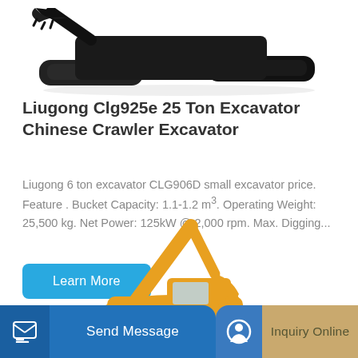[Figure (photo): Black crawler excavator bucket and tracks viewed from front-left, white background]
Liugong Clg925e 25 Ton Excavator Chinese Crawler Excavator
Liugong 6 ton excavator CLG906D small excavator price. Feature . Bucket Capacity: 1.1-1.2 m³. Operating Weight: 25,500 kg. Net Power: 125kW @ 2,000 rpm. Max. Digging...
[Figure (photo): Yellow SANY crawler excavator shown from side, partially visible, white background]
Send Message | Inquiry Online